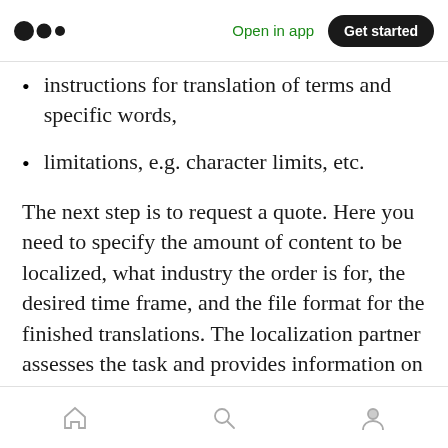Medium | Open in app | Get started
instructions for translation of terms and specific words,
limitations, e.g. character limits, etc.
The next step is to request a quote. Here you need to specify the amount of content to be localized, what industry the order is for, the desired time frame, and the file format for the finished translations. The localization partner assesses the task and provides information on the cost.Once the client has approved the cost,
Home | Search | Profile